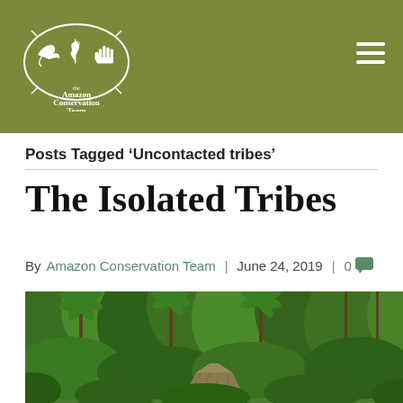[Figure (logo): Amazon Conservation Team logo — oval border with bird, leaf, and hand icons in white on olive green background, with text 'the Amazon Conservation Team' below]
Posts Tagged ‘Uncontacted tribes’
The Isolated Tribes
By Amazon Conservation Team | June 24, 2019 | 0
[Figure (photo): Aerial photograph of a thatched-roof hut surrounded by dense tropical rainforest with tall palm trees and lush green vegetation]